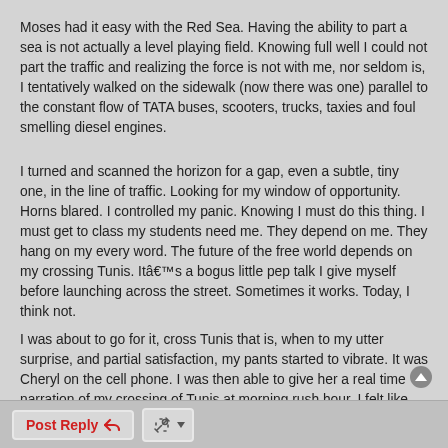Moses had it easy with the Red Sea. Having the ability to part a sea is not actually a level playing field. Knowing full well I could not part the traffic and realizing the force is not with me, nor seldom is, I tentatively walked on the sidewalk (now there was one) parallel to the constant flow of TATA buses, scooters, trucks, taxies and foul smelling diesel engines.
I turned and scanned the horizon for a gap, even a subtle, tiny one, in the line of traffic. Looking for my window of opportunity. Horns blared. I controlled my panic. Knowing I must do this thing. I must get to class my students need me. They depend on me. They hang on my every word. The future of the free world depends on my crossing Tunis. Itâs a bogus little pep talk I give myself before launching across the street. Sometimes it works. Today, I think not.
I was about to go for it, cross Tunis that is, when to my utter surprise, and partial satisfaction, my pants started to vibrate. It was Cheryl on the cell phone. I was then able to give her a real time narration of my crossing of Tunis at morning rush hour. I felt like my hero Jack Bauer.
“I want you to know that what ever happens I love you. I have to cross the street now“